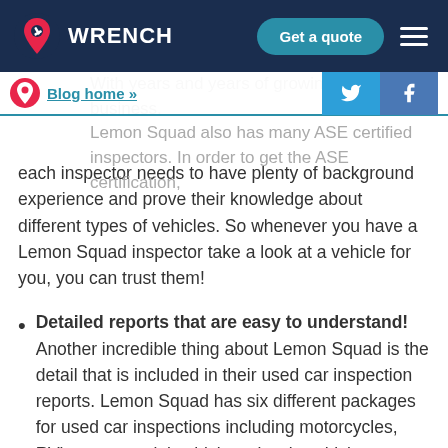WRENCH — Get a quote
Blog home »
With years and years of growing their business, Lemon Squad also has many ASE certified inspectors. In order to get the ASE certification, each inspector needs to have plenty of background experience and prove their knowledge about different types of vehicles. So whenever you have a Lemon Squad inspector take a look at a vehicle for you, you can trust them!
Detailed reports that are easy to understand! Another incredible thing about Lemon Squad is the detail that is included in their used car inspection reports. Lemon Squad has six different packages for used car inspections including motorcycles, RV's, commercial vehicles, classic vehicles, standard vehicles,